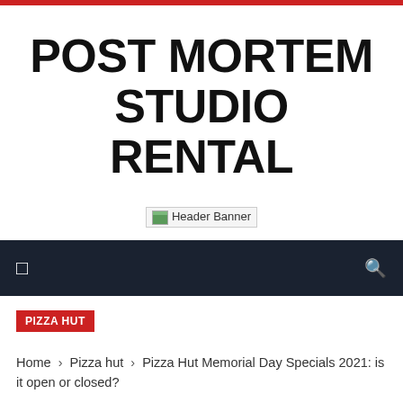POST MORTEM STUDIO RENTAL
[Figure (other): Header Banner image placeholder]
navigation bar with menu and search icons
PIZZA HUT
Home › Pizza hut › Pizza Hut Memorial Day Specials 2021: is it open or closed?
PIZZA HUT MEMORIAL DAY SPECIALS 2021: IS IT OPEN OR CLOSED?